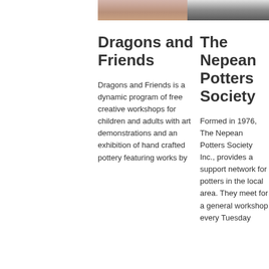[Figure (photo): Partial photo of pottery or crafts, cropped at top, showing pink/brown tones]
[Figure (photo): Partial photo of dark pottery/ceramics, cropped at top, showing grey/dark tones]
Dragons and Friends
Dragons and Friends is a dynamic program of free creative workshops for children and adults with art demonstrations and an exhibition of hand crafted pottery featuring works by
The Nepean Potters Society
Formed in 1976, The Nepean Potters Society Inc., provides a support network for potters in the local area. They meet for a general workshop every Tuesday